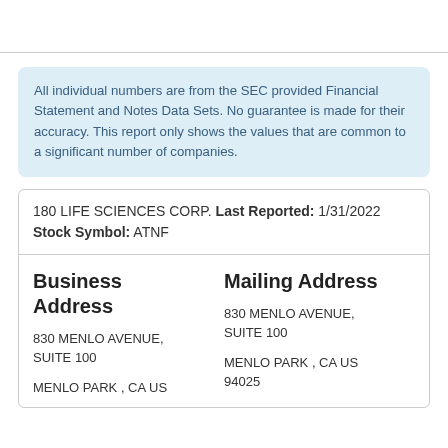All individual numbers are from the SEC provided Financial Statement and Notes Data Sets. No guarantee is made for their accuracy. This report only shows the values that are common to a significant number of companies.
180 LIFE SCIENCES CORP. Last Reported: 1/31/2022 Stock Symbol: ATNF
Business Address
830 MENLO AVENUE, SUITE 100
MENLO PARK , CA US
Mailing Address
830 MENLO AVENUE, SUITE 100
MENLO PARK , CA US 94025